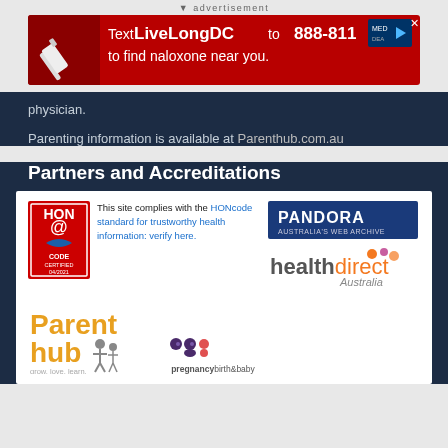[Figure (infographic): Advertisement banner: Text LiveLongDC to 888-811 to find naloxone near you.]
physician.
Parenting information is available at Parenthub.com.au
Partners and Accreditations
[Figure (logo): HONcode Certified 04/2021 badge with text: This site complies with the HONcode standard for trustworthy health information: verify here.]
[Figure (logo): PANDORA Australia's Web Archive logo]
[Figure (logo): healthdirect Australia logo]
[Figure (logo): ParentHub grow. love. learn. logo]
[Figure (logo): pregnancybirth&baby logo with three figure icons]